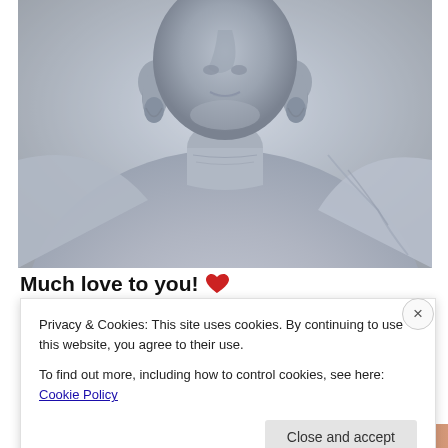[Figure (photo): Close-up photograph of a grey/blue stone or plastic Buddha statue, showing the lower face (nose, mouth, ears with elongated earlobes), neck, and upper chest/robe area against a light beige-grey background.]
Much love to you! ❤️
Privacy & Cookies: This site uses cookies. By continuing to use this website, you agree to their use.
To find out more, including how to control cookies, see here: Cookie Policy
Close and accept